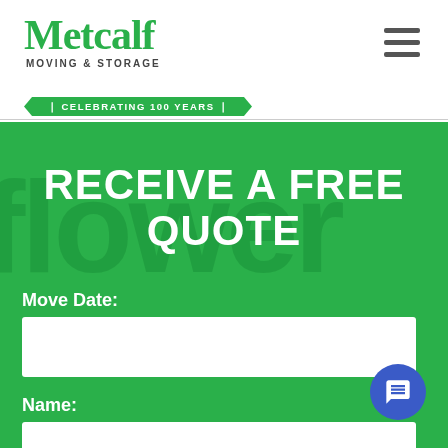[Figure (logo): Metcalf Moving & Storage logo with green serif text and 'Celebrating 100 Years' ribbon banner]
RECEIVE A FREE QUOTE
Move Date:
Name: